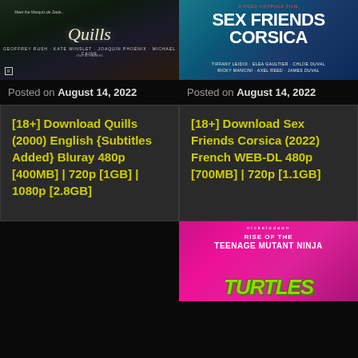[Figure (photo): Movie poster for Quills (2000) - dark green/brown tones with cursive title text and cast names]
[Figure (photo): Movie poster for Sex Friends Corsica - teal/blue tones with bold white title text and cast names]
Posted on August 14, 2022
Posted on August 14, 2022
[18+] Download Quills (2000) English {Subtitles Added} Bluray 480p [400MB] | 720p [1GB] | 1080p [2.8GB]
[18+] Download Sex Friends Corsica (2022) French WEB-DL 480p [700MB] | 720p [1.1GB]
[Figure (photo): Movie poster for Rise of the Teenage Mutant Ninja Turtles - pink/magenta background with green TMNT logo]